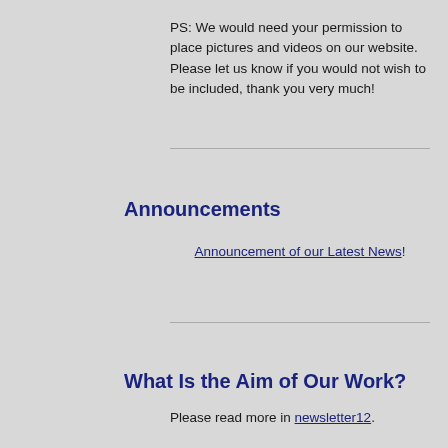PS: We would need your permission to place pictures and videos on our website. Please let us know if you would not wish to be included, thank you very much!
Announcements
Announcement of our Latest News!
What Is the Aim of Our Work?
Please read more in newsletter12.